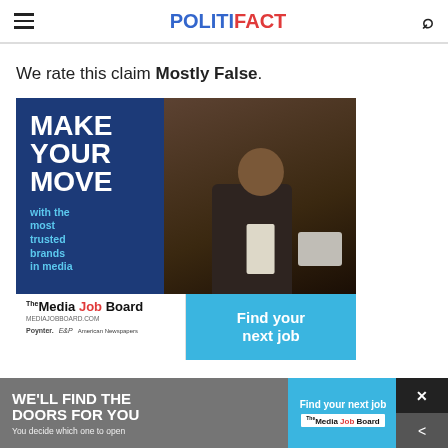POLITIFACT
We rate this claim Mostly False.
[Figure (photo): Advertisement for Media Job Board showing 'MAKE YOUR MOVE with the most trusted brands in media' with a photo of a man in a suit looking at a tablet, and 'Find your next job' call to action. Logos for Poynter, E&P, and American Newspapers shown.]
[Figure (photo): Bottom banner advertisement: 'WE'LL FIND THE DOORS FOR YOU – You decide which one to open' with 'Find your next job' and Media Job Board logo on right side.]